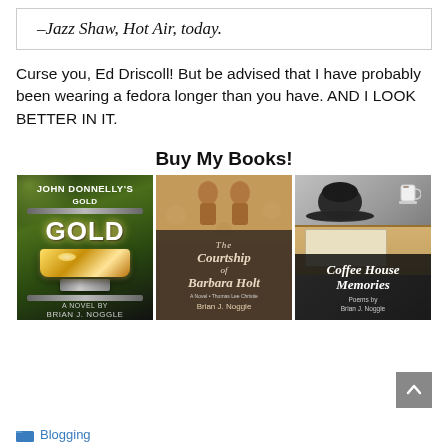–Jazz Shaw, Hot Air, today.
Curse you, Ed Driscoll! But be advised that I have probably been wearing a fedora longer than you have. AND I LOOK BETTER IN IT.
Buy My Books!
[Figure (illustration): Three book covers side by side: 'John Donnelly's Gold' by Brian J. Noggle (dark green with gold bar), 'The Courtship of Barbara Holt' by Brian J. Noggle (tan figures with dark overlay), 'Coffee House Memories' by Brian J. Noggle (desk with hat and coffee cup).]
Blogging